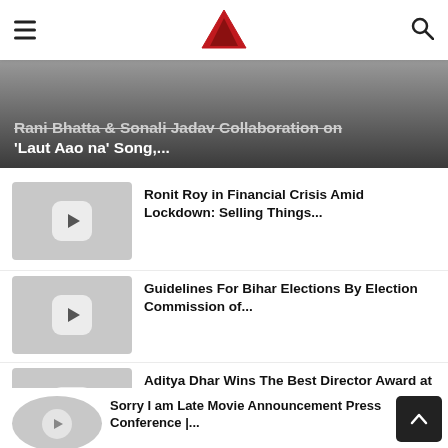Apeksha Sandesh
[Figure (screenshot): Partially visible banner article: 'Rani Bhatta & Sonali Jadav Collaboration on Laut Aao na Song,...']
[Figure (photo): Video thumbnail placeholder with play button]
Ronit Roy in Financial Crisis Amid Lockdown: Selling Things...
[Figure (photo): Video thumbnail placeholder with play button]
Guidelines For Bihar Elections By Election Commission of...
[Figure (photo): Video thumbnail placeholder with play button]
Aditya Dhar Wins The Best Director Award at the National...
[Figure (photo): Video thumbnail placeholder with play button]
Sorry I am Late Movie Announcement Press Conference |...